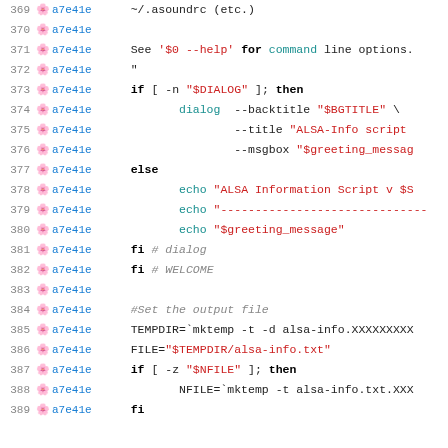[Figure (screenshot): Source code viewer showing shell script lines 369-389 with line numbers, commit hashes (a7e41e), and syntax-highlighted bash code including dialog, echo, and file handling commands.]